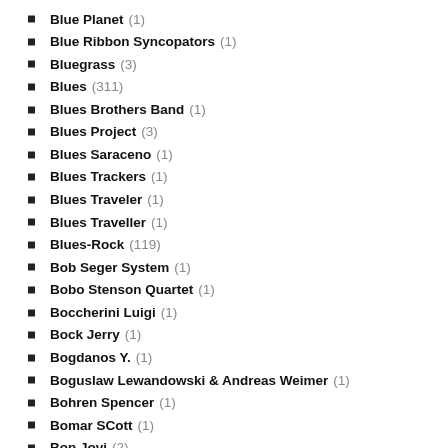Blue Planet (1)
Blue Ribbon Syncopators (1)
Bluegrass (3)
Blues (311)
Blues Brothers Band (1)
Blues Project (3)
Blues Saraceno (1)
Blues Trackers (1)
Blues Traveler (1)
Blues Traveller (1)
Blues-Rock (119)
Bob Seger System (1)
Bobo Stenson Quartet (1)
Boccherini Luigi (1)
Bock Jerry (1)
Bogdanos Y. (1)
Boguslaw Lewandowski & Andreas Weimer (1)
Bohren Spencer (1)
Bomar SCott (1)
Bon Jovi (2)
Bonacina Céline (1)